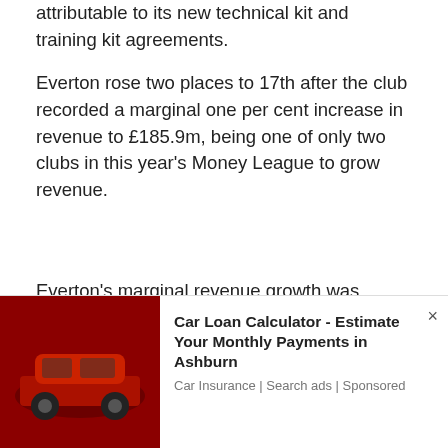attributable to its new technical kit and training kit agreements.
Everton rose two places to 17th after the club recorded a marginal one per cent increase in revenue to £185.9m, being one of only two clubs in this year's Money League to grow revenue.
Everton's marginal revenue growth was driven by the club's commercial revenue more than doubling to £76m. This was the largest growth (104%) in
...lbs.
...at
...lubs in
...row
[Figure (screenshot): Cookie consent banner with dark blue background reading 'This website uses cookies to ensure you get the best experience on our website.' with a 'Learn more' link.]
[Figure (infographic): Advertisement banner for 'Car Loan Calculator - Estimate Your Monthly Payments In Ashburn' from Car Insurance | Search ads | Sponsored, with a red car image on the left.]